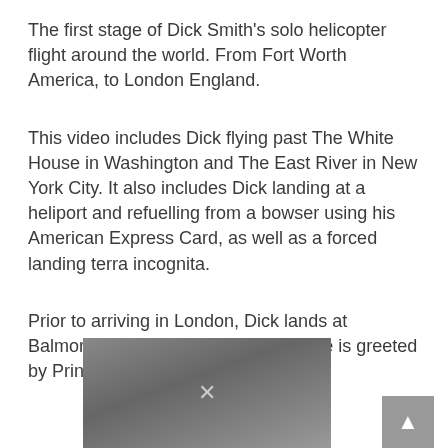The first stage of Dick Smith's solo helicopter flight around the world. From Fort Worth America, to London England.
This video includes Dick flying past The White House in Washington and The East River in New York City. It also includes Dick landing at a heliport and refuelling from a bowser using his American Express Card, as well as a forced landing terra incognita.
Prior to arriving in London, Dick lands at Balmoral Castle in Scotland, where he is greeted by Prince Charles.
[Figure (screenshot): A video thumbnail showing a dark grey gradient background with an X close button overlaid. To the right is a grey scroll-to-top button with an upward arrow.]